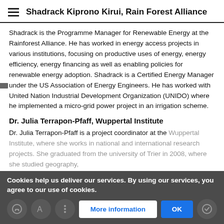Shadrack Kiprono Kirui, Rain Forest Alliance
Shadrack is the Programme Manager for Renewable Energy at the Rainforest Alliance. He has worked in energy access projects in various institutions, focusing on productive uses of energy, energy efficiency, energy financing as well as enabling policies for renewable energy adoption. Shadrack is a Certified Energy Manager under the US Association of Energy Engineers. He has worked with United Nation Industrial Development Organization (UNIDO) where he implemented a micro-grid power project in an irrigation scheme.
Dr. Julia Terrapon-Pfaff, Wuppertal Institute
Dr. Julia Terrapon-Pfaff is a project coordinator at the Wuppertal Institute, where she works in national and international research projects. She graduated from the university of Trier in 2008, where she studied geography. doctoral the... (2014 she focused on the process of energy...)
Cookies help us deliver our services. By using our services, you agree to our use of cookies.